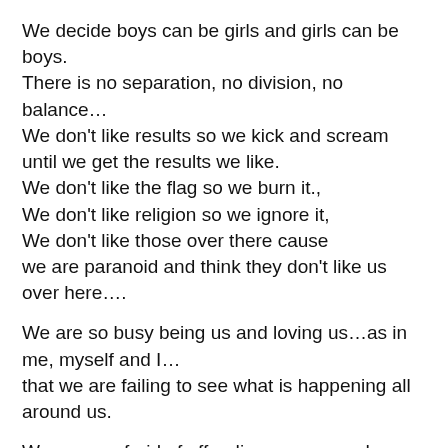We decide boys can be girls and girls can be boys.
There is no separation, no division, no balance…
We don't like results so we kick and scream until we get the results we like.
We don't like the flag so we burn it.,
We don't like religion so we ignore it,
We don't like those over there cause we are paranoid and think they don't like us over here….
We are so busy being us and loving us…as in me, myself and I…
that we are failing to see what is happening all around us.
We are so afraid of offending anyone and everyone that we can't call terrorists what they are.
We can't admit that radical Islam wants to annihilate us so we instead invite